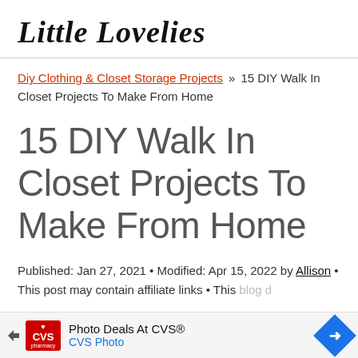Little Lovelies
Diy Clothing & Closet Storage Projects » 15 DIY Walk In Closet Projects To Make From Home
15 DIY Walk In Closet Projects To Make From Home
Published: Jan 27, 2021 • Modified: Apr 15, 2022 by Allison • This post may contain affiliate links • This blog d…
[Figure (other): CVS Photo advertisement banner: 'Photo Deals At CVS® / CVS Photo' with CVS pharmacy logo and blue navigation arrow icon]